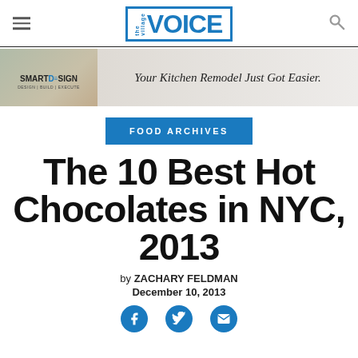the village VOICE
[Figure (photo): Banner advertisement for SmartDesign: 'Your Kitchen Remodel Just Got Easier.' showing a kitchen shelf scene on the left and the tagline on the right.]
FOOD ARCHIVES
The 10 Best Hot Chocolates in NYC, 2013
by ZACHARY FELDMAN
December 10, 2013